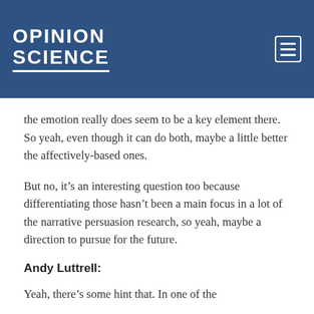OPINION SCIENCE
the emotion really does seem to be a key element there. So yeah, even though it can do both, maybe a little better the affectively-based ones.
But no, it’s an interesting question too because differentiating those hasn’t been a main focus in a lot of the narrative persuasion research, so yeah, maybe a direction to pursue for the future.
Andy Luttrell:
Yeah, there’s some hint that. In one of the